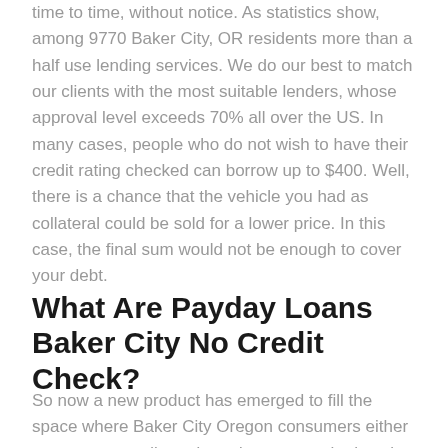time to time, without notice. As statistics show, among 9770 Baker City, OR residents more than a half use lending services. We do our best to match our clients with the most suitable lenders, whose approval level exceeds 70% all over the US. In many cases, people who do not wish to have their credit rating checked can borrow up to $400. Well, there is a chance that the vehicle you had as collateral could be sold for a lower price. In this case, the final sum would not be enough to cover your debt.
What Are Payday Loans Baker City No Credit Check?
So now a new product has emerged to fill the space where Baker City Oregon consumers either can not get credit cards or do not want the hassle. They are a great